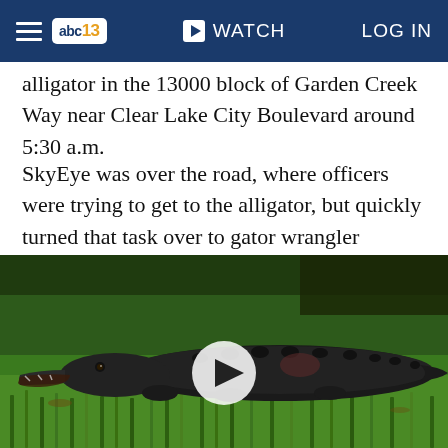abc13 WATCH LOG IN
alligator in the 13000 block of Garden Creek Way near Clear Lake City Boulevard around 5:30 a.m.
SkyEye was over the road, where officers were trying to get to the alligator, but quickly turned that task over to gator wrangler Timothy Deramus.
[Figure (photo): A large alligator lying on green grass with mouth slightly open, with a video play button overlay in the center of the image.]